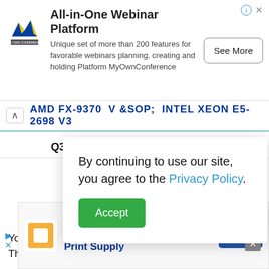[Figure (infographic): Advertisement banner for All-in-One Webinar Platform (MyOwnConference) with logo, description text, and See More button]
AMD FX-9370 VS Intel Xeon E5-2698 V3
| Q3/2013 | Release date | Q3/2014 |
| --- | --- | --- |
By continuing to use our site, you agree to the Privacy Policy.
These can be a desktop or a laptop.
[Figure (infographic): Advertisement for Wholesale Screen Print Supply from Screening Supplies Store with Open button]